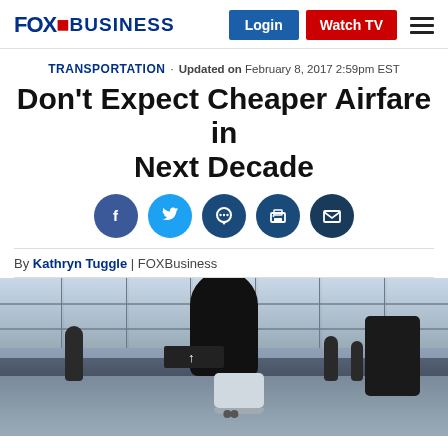FOX BUSINESS — Login | Watch TV
TRANSPORTATION · Updated on February 8, 2017 2:59pm EST
Don't Expect Cheaper Airfare in Next Decade
[Figure (infographic): Social sharing icons: Facebook, Twitter, Comments, Print, Email]
By Kathryn Tuggle | FOXBusiness
[Figure (photo): Silhouetted traveler sitting on luggage in an airport terminal with large windows in the background, other travelers walking in the distance.]